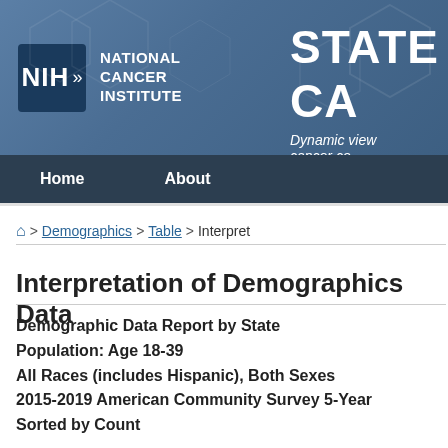NIH National Cancer Institute — STATE CA[NCER PROFILES] — Dynamic view of cancer co[unts and rates]
Home   About
⌂ > Demographics > Table > Interpret
Interpretation of Demographics Data
Demographic Data Report by State
Population: Age 18-39
All Races (includes Hispanic), Both Sexes
2015-2019 American Community Survey 5-Year
Sorted by Count